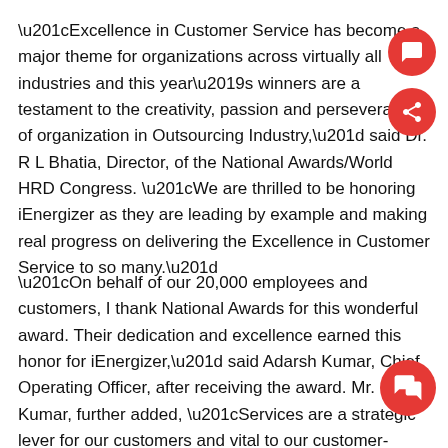“Excellence in Customer Service has become a major theme for organizations across virtually all industries and this year’s winners are a testament to the creativity, passion and perseverance of organization in Outsourcing Industry,” said Dr. R L Bhatia, Director, of the National Awards/World HRD Congress. “We are thrilled to be honoring iEnergizer as they are leading by example and making real progress on delivering the Excellence in Customer Service to so many.”
“On behalf of our 20,000 employees and customers, I thank National Awards for this wonderful award. Their dedication and excellence earned this honor for iEnergizer,” said Adarsh Kumar, Chief Operating Officer, after receiving the award. Mr. Kumar, further added, “Services are a strategic lever for our customers and vital to our customer-obsessed company. To add value, iEnergizer brings together the expertise, technology, and best practices to guide enterprises in setting their CX